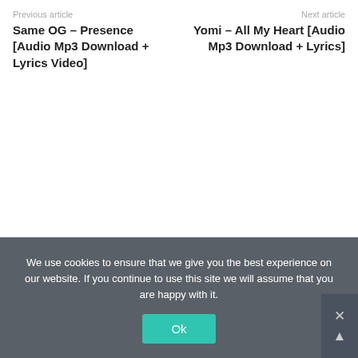Previous article
Same OG – Presence [Audio Mp3 Download + Lyrics Video]
Next article
Yomi – All My Heart [Audio Mp3 Download + Lyrics]
We use cookies to ensure that we give you the best experience on our website. If you continue to use this site we will assume that you are happy with it.
Ok